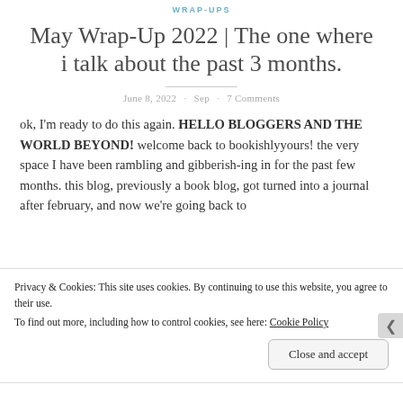WRAP-UPS
May Wrap-Up 2022 | The one where i talk about the past 3 months.
June 8, 2022 · Sep · 7 Comments
ok, I'm ready to do this again. HELLO BLOGGERS AND THE WORLD BEYOND! welcome back to bookishlyyours! the very space I have been rambling and gibberish-ing in for the past few months. this blog, previously a book blog, got turned into a journal after february, and now we're going back to
Privacy & Cookies: This site uses cookies. By continuing to use this website, you agree to their use.
To find out more, including how to control cookies, see here: Cookie Policy
Close and accept